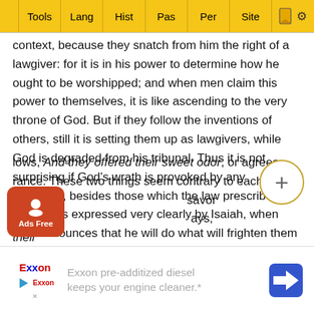Tools | Lang | Hist | Pas | Per | Site
context, because they snatch from him the right of a lawgiver: for it is in his power to determine how he ought to be worshipped; and when men claim this power to themselves, it is like ascending to the very throne of God. But if they follow the inventions of others, still it is setting them up as lawgivers, while God is degraded from his tribunal. Thus it is not surprising if God's wrath is provoked by any sacrifices, besides those which the law prescribes. And this is expressed very clearly by Isaiah, when God announces that he will do what will frighten them all as an unexpected prodigy: I will blind the eyes of the wise, says he, and I will take away prudence from the aged. (Isaiah 29:14.) And why so? because they worship me by the precepts of men.
lows, And they offered their sweet odor, or agreeable fragrance. These two things seem contrary to each other, that t... savor was s... ays, their...
[Figure (screenshot): Exxon advertisement banner: 'Exxon pre-additized diesel keeps your engine cleaner.*' with Exxon logo and navigation arrow icon]